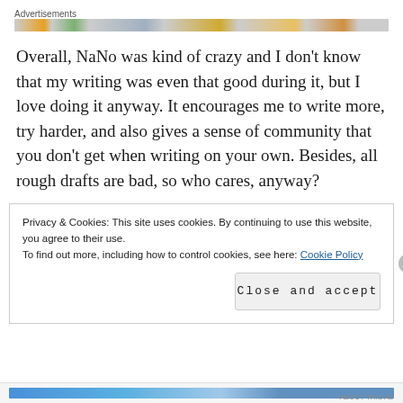Advertisements
Overall, NaNo was kind of crazy and I don't know that my writing was even that good during it, but I love doing it anyway. It encourages me to write more, try harder, and also gives a sense of community that you don't get when writing on your own. Besides, all rough drafts are bad, so who cares, anyway?
Privacy & Cookies: This site uses cookies. By continuing to use this website, you agree to their use.
To find out more, including how to control cookies, see here: Cookie Policy
Close and accept